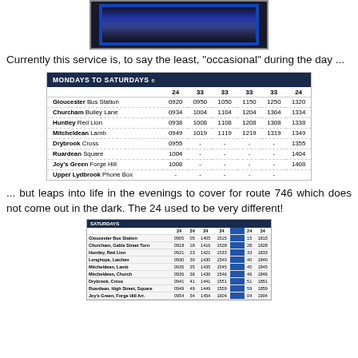[Figure (photo): Photo of a bus stop or transport infrastructure with blue frame]
Currently this service is, to say the least, "occasional" during the day ...
|  | 24 | 33 | 33 | 33 | 33 | 24 |
| --- | --- | --- | --- | --- | --- | --- |
| Gloucester Bus Station | 0920 | 0950 | 1050 | 1150 | 1250 | 1320 |
| Churcham Bulley Lane | 0934 | 1004 | 1104 | 1204 | 1304 | 1334 |
| Huntley Red Lion | 0938 | 1008 | 1108 | 1208 | 1308 | 1338 |
| Mitcheldean Lamb | 0949 | 1019 | 1119 | 1219 | 1319 | 1349 |
| Drybrook Cross | 0955 | - | - | - | - | 1355 |
| Ruardean Square | 1004 | - | - | - | - | 1404 |
| Joy's Green Forge Hill | 1008 | - | - | - | - | 1408 |
| Upper Lydbrook Phone Box | - | - | - | - | - |  |
... but leaps into life in the evenings to cover for route 746 which does not come out in the dark. The 24 used to be very different!
[Figure (table-as-image): Saturdays timetable image showing bus routes and times including Gloucester Bus Station, Churcham, Huntley, Longhope, Mitcheldean, Drybrook, Ruardean rows with times]